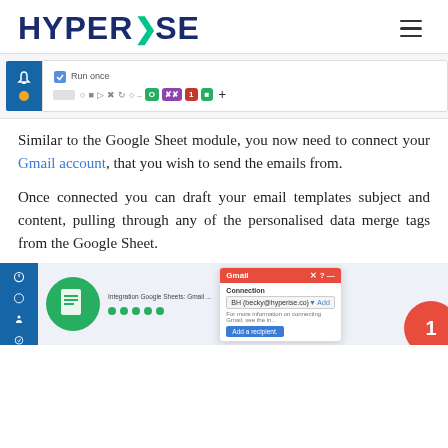HYPERISE
[Figure (screenshot): Toolbar/workflow strip showing a 'Run once' label with various action icons including colored buttons (green, purple, red) and a plus button]
Similar to the Google Sheet module, you now need to connect your Gmail account, that you wish to send the emails from.
Once connected you can draft your email templates subject and content, pulling through any of the personalised data merge tags from the Google Sheet.
[Figure (screenshot): Screenshot of integration interface showing Google Sheets, Gmail connection dialog with a red Gmail popup, connection dropdown showing BH (becky@hyperise.co), and an 'Add a recipient' blue button]